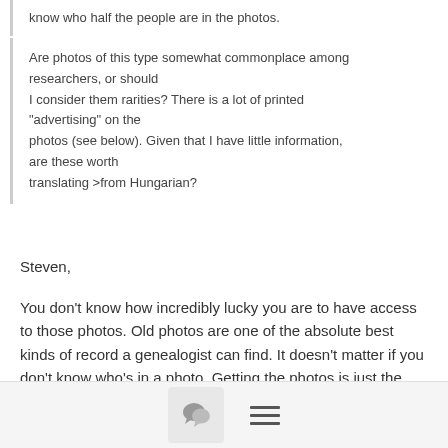know who half the people are in the photos.
Are photos of this type somewhat commonplace among researchers, or should I consider them rarities? There is a lot of printed "advertising" on the photos (see below). Given that I have little information, are these worth translating >from Hungarian?
Steven,
You don't know how incredibly lucky you are to have access to those photos. Old photos are one of the absolute best kinds of record a genealogist can find. It doesn't matter if you don't know who's in a photo. Getting the photos is just the first step.
[Figure (other): Footer bar with chat/comments icon button and hamburger menu icon]